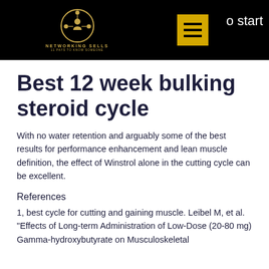[Figure (logo): Networking Sells logo with gold circle icon showing people network, gold hamburger menu button, and partial text 'to start' on black header background]
Best 12 week bulking steroid cycle
With no water retention and arguably some of the best results for performance enhancement and lean muscle definition, the effect of Winstrol alone in the cutting cycle can be excellent.
References
1, best cycle for cutting and gaining muscle. Leibel M, et al. "Effects of Long-term Administration of Low-Dose (20-80 mg) Gamma-hydroxybutyrate on Musculoskeletal